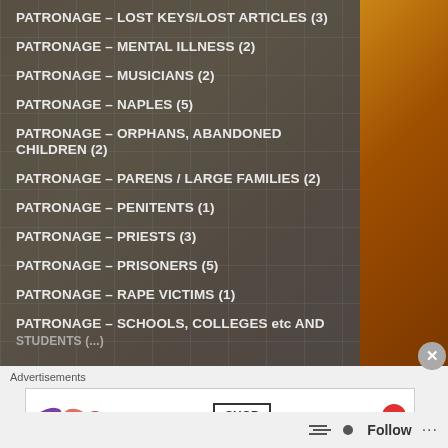PATRONAGE – LOST KEYS/LOST ARTICLES (3)
PATRONAGE – MENTAL ILLNESS (2)
PATRONAGE – MUSICIANS (2)
PATRONAGE – NAPLES (5)
PATRONAGE – ORPHANS, ABANDONED CHILDREN (2)
PATRONAGE – PARENS / LARGE FAMILIES (2)
PATRONAGE – PENITENTS (1)
PATRONAGE – PRIESTS (3)
PATRONAGE – PRISONERS (5)
PATRONAGE – RAPE VICTIMS (1)
PATRONAGE – SCHOOLS, COLLEGES etc AND STUDENTS (...)
Advertisements
SHOP
Follow